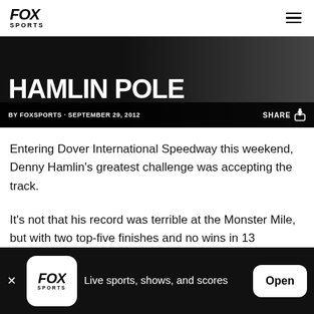FOX SPORTS
HAMLIN POLE
BY FOXSPORTS · SEPTEMBER 29, 2012
Entering Dover International Speedway this weekend, Denny Hamlin's greatest challenge was accepting the track.
It's not that his record was terrible at the Monster Mile, but with two top-five finishes and no wins in 13
Live sports, shows, and scores